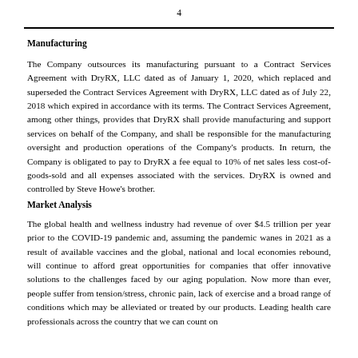4
Manufacturing
The Company outsources its manufacturing pursuant to a Contract Services Agreement with DryRX, LLC dated as of January 1, 2020, which replaced and superseded the Contract Services Agreement with DryRX, LLC dated as of July 22, 2018 which expired in accordance with its terms. The Contract Services Agreement, among other things, provides that DryRX shall provide manufacturing and support services on behalf of the Company, and shall be responsible for the manufacturing oversight and production operations of the Company's products. In return, the Company is obligated to pay to DryRX a fee equal to 10% of net sales less cost-of-goods-sold and all expenses associated with the services. DryRX is owned and controlled by Steve Howe's brother.
Market Analysis
The global health and wellness industry had revenue of over $4.5 trillion per year prior to the COVID-19 pandemic and, assuming the pandemic wanes in 2021 as a result of available vaccines and the global, national and local economies rebound, will continue to afford great opportunities for companies that offer innovative solutions to the challenges faced by our aging population. Now more than ever, people suffer from tension/stress, chronic pain, lack of exercise and a broad range of conditions which may be alleviated or treated by our products. Leading health care professionals across the country that we can count on...